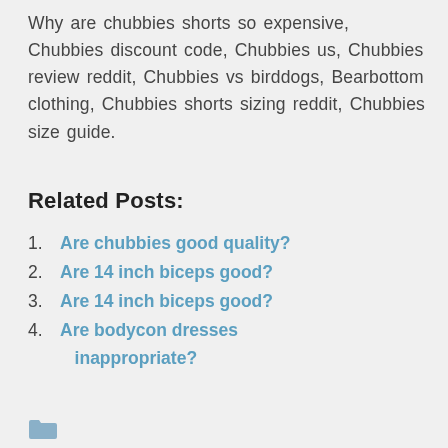Why are chubbies shorts so expensive, Chubbies discount code, Chubbies us, Chubbies review reddit, Chubbies vs birddogs, Bearbottom clothing, Chubbies shorts sizing reddit, Chubbies size guide.
Related Posts:
Are chubbies good quality?
Are 14 inch biceps good?
Are 14 inch biceps good?
Are bodycon dresses inappropriate?